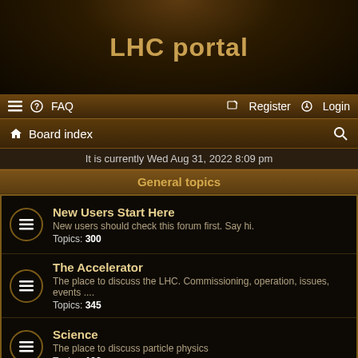LHC portal
≡ ? FAQ    Register  Login
Board index
It is currently Wed Aug 31, 2022 8:09 pm
General topics
New Users Start Here
New users should check this forum first. Say hi.
Topics: 300
The Accelerator
The place to discuss the LHC. Commissioning, operation, issues, events ....
Topics: 345
Science
The place to discuss particle physics
Topics: 138
Experiments
ALICE
Questions / discussions specific to the ALICE experiment or science
Topics: 16